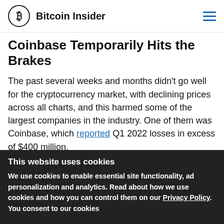Bitcoin Insider
Coinbase Temporarily Hits the Brakes
The past several weeks and months didn't go well for the cryptocurrency market, with declining prices across all charts, and this harmed some of the largest companies in the industry. One of them was Coinbase, which reported Q1 2022 losses in excess of $400 million.
Somewhat expectedly, these developments led to a substantial change of direction for the largest US-
This website uses cookies
We use cookies to enable essential site functionality, ad personalization and analytics. Read about how we use cookies and how you can control them on our Privacy Policy. You consent to our cookies